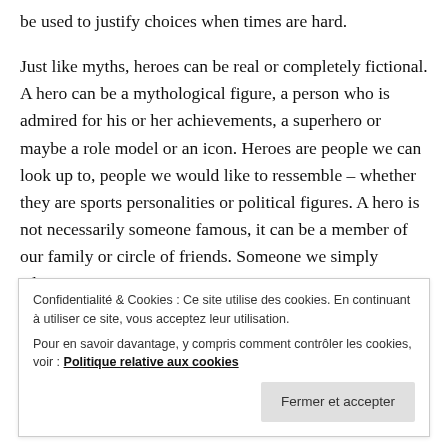be used to justify choices when times are hard.
Just like myths, heroes can be real or completely fictional. A hero can be a mythological figure, a person who is admired for his or her achievements, a superhero or maybe a role model or an icon. Heroes are people we can look up to, people we would like to ressemble – whether they are sports personalities or political figures. A hero is not necessarily someone famous, it can be a member of our family or circle of friends. Someone we simply admire.
Heroes lead, inspire, and entertain the masses. This is
Confidentialité & Cookies : Ce site utilise des cookies. En continuant à utiliser ce site, vous acceptez leur utilisation.
Pour en savoir davantage, y compris comment contrôler les cookies, voir : Politique relative aux cookies
heroes influence movements toward the improvement